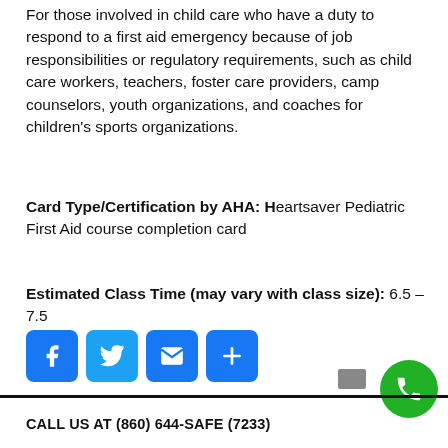For those involved in child care who have a duty to respond to a first aid emergency because of job responsibilities or regulatory requirements, such as child care workers, teachers, foster care providers, camp counselors, youth organizations, and coaches for children's sports organizations.
Card Type/Certification by AHA: Heartsaver Pediatric First Aid course completion card
Estimated Class Time (may vary with class size): 6.5 – 7.5
[Figure (infographic): Social sharing icons: Facebook (blue), Twitter (blue), Email (blue envelope), Add/Share (blue plus)]
[Figure (infographic): Gray rectangle button and green phone call circle button]
CALL US AT (860) 644-SAFE (7233)